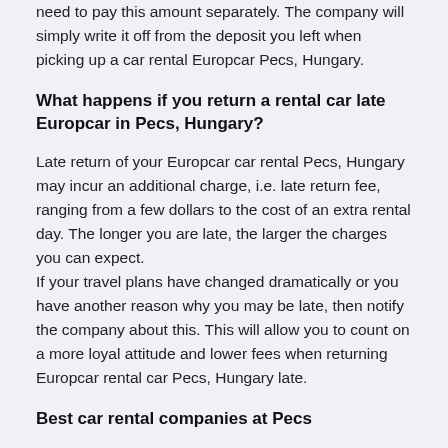need to pay this amount separately. The company will simply write it off from the deposit you left when picking up a car rental Europcar Pecs, Hungary.
What happens if you return a rental car late Europcar in Pecs, Hungary?
Late return of your Europcar car rental Pecs, Hungary may incur an additional charge, i.e. late return fee, ranging from a few dollars to the cost of an extra rental day. The longer you are late, the larger the charges you can expect.
If your travel plans have changed dramatically or you have another reason why you may be late, then notify the company about this. This will allow you to count on a more loyal attitude and lower fees when returning Europcar rental car Pecs, Hungary late.
Best car rental companies at Pecs
You can compare Europcar car rental offers with deals provided by other world-known and local car rental vendors in Pecs, Hungary without any effort. Doing so can help you